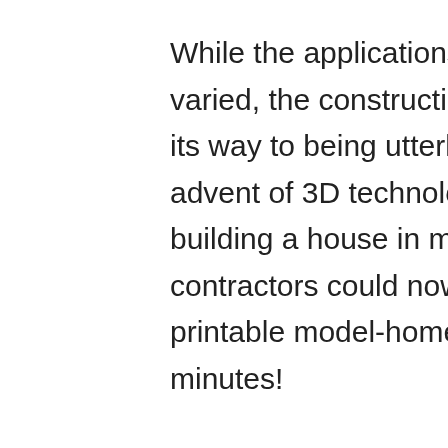While the applications of 3D printing are far and varied, the construction industry, in particular, is on its way to being utterly revolutionized, with the advent of 3D technology. From painstakingly building a house in months, or maybe years, contractors could now be looking at instantly printable model-homes, that could be ready in minutes!

Daghan Cam, co-founder and chief executive officer of AI Build, says, “The beauty of 3D printing is that it makes almost any design applicable and possible. We want to take this technology